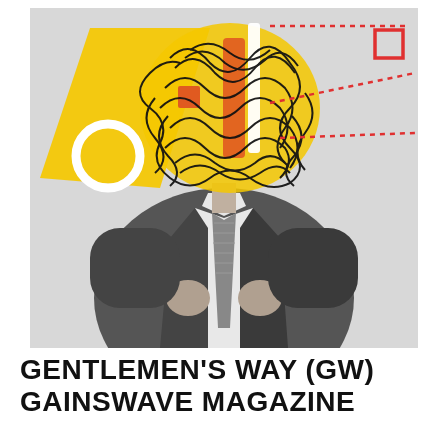[Figure (illustration): A grayscale photo of a man in a dark suit and striped tie, with his head replaced by a surreal illustration: a large tangle of black scribbled lines over a yellow background with orange/red accent shapes, a white circle outline on the left, a small orange square, and red dotted lines extending to the upper right. The background of the image is light gray.]
GENTLEMEN'S WAY (GW) GAINSWAVE MAGAZINE